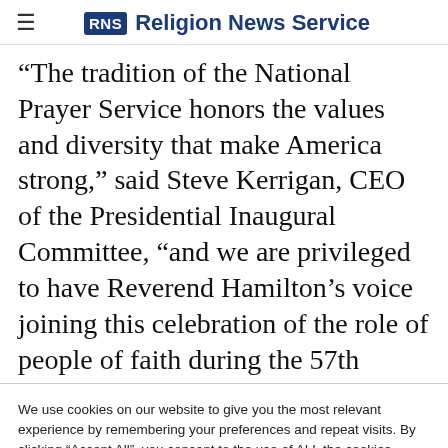RNS Religion News Service
“The tradition of the National Prayer Service honors the values and diversity that make America strong,” said Steve Kerrigan, CEO of the Presidential Inaugural Committee, “and we are privileged to have Reverend Hamilton’s voice joining this celebration of the role of people of faith during the 57th
We use cookies on our website to give you the most relevant experience by remembering your preferences and repeat visits. By clicking “Accept All”, you consent to the use of ALL the cookies. However, you may visit "Cookie Settings" to provide a controlled consent.